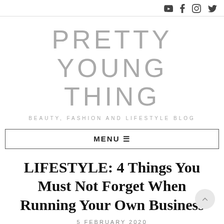[social icons: YouTube, Facebook, Instagram, Twitter]
PRETTY YOUNG THING
BEAUTY, FASHION AND LIFESTYLE BLOG
MENU ≡
LIFESTYLE: 4 Things You Must Not Forget When Running Your Own Business
5 FEBRUARY 2020